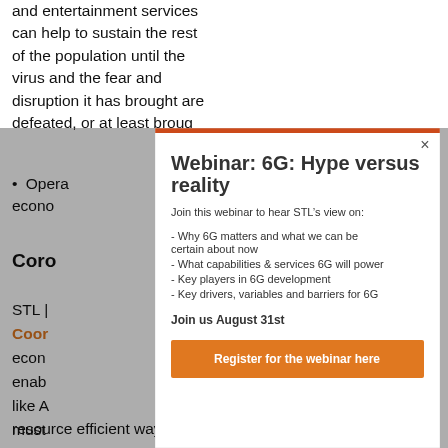and entertainment services can help to sustain the rest of the population until the virus and the fear and disruption it has brought are defeated, or at least broug
Opera... econo
Coro
STL | Coor econ enab like A must resource efficient way.
[Figure (screenshot): Modal popup overlay with orange top bar, title 'Webinar: 6G: Hype versus reality', subtitle 'Join this webinar to hear STL's view on:', bullet points listing webinar topics, date 'Join us August 31st', and orange 'Register for the webinar here' button. Close X button in top right.]